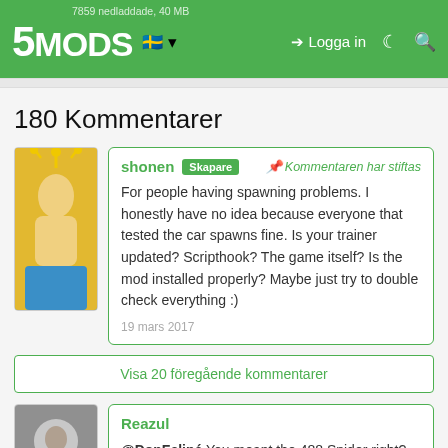5MODS — Logga in
180 Kommentarer
shonen Skapare — Kommentaren har stiftas
For people having spawning problems. I honestly have no idea because everyone that tested the car spawns fine. Is your trainer updated? Scripthook? The game itself? Is the mod installed properly? Maybe just try to double check everything :)
19 mars 2017
Visa 20 föregående kommentarer
Reazul
@DonFelipé You meant the 488 Spider right?
8 mars 2018
Reazul